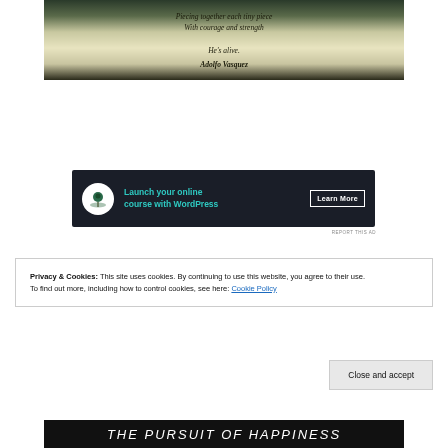[Figure (photo): Dark-bordered image with poem text on aged/textured background. Poem reads: 'Piecing together each tiny piece / With courage and strength / He's alive.' Attributed to Adolfo Vasquez.]
[Figure (screenshot): Advertisement banner: dark background with bonsai tree icon, teal text 'Launch your online course with WordPress', and 'Learn More' button.]
REPORT THIS AD
Privacy & Cookies: This site uses cookies. By continuing to use this website, you agree to their use.
To find out more, including how to control cookies, see here: Cookie Policy
Close and accept
[Figure (photo): Bottom partial image showing 'THE PURSUIT OF HAPPINESS' text in white stylized font on dark background.]